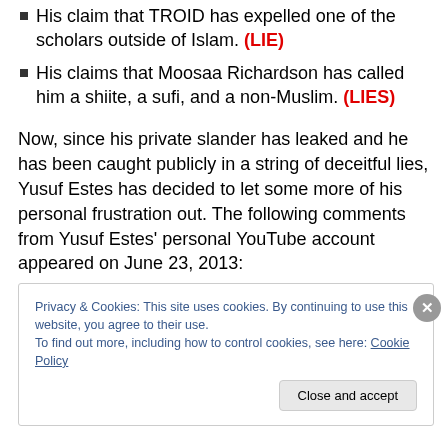His claim that TROID has expelled one of the scholars outside of Islam. (LIE)
His claims that Moosaa Richardson has called him a shiite, a sufi, and a non-Muslim. (LIES)
Now, since his private slander has leaked and he has been caught publicly in a string of deceitful lies, Yusuf Estes has decided to let some more of his personal frustration out. The following comments from Yusuf Estes' personal YouTube account appeared on June 23, 2013:
Privacy & Cookies: This site uses cookies. By continuing to use this website, you agree to their use.
To find out more, including how to control cookies, see here: Cookie Policy